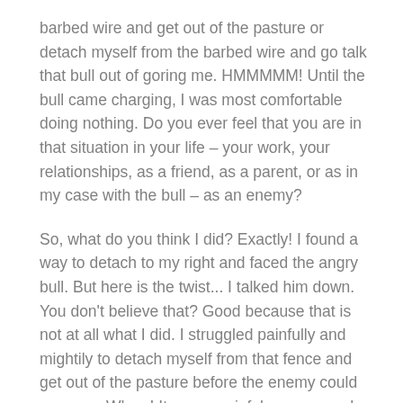barbed wire and get out of the pasture or detach myself from the barbed wire and go talk that bull out of goring me. HMMMMM! Until the bull came charging, I was most comfortable doing nothing. Do you ever feel that you are in that situation in your life – your work, your relationships, as a friend, as a parent, or as in my case with the bull – as an enemy?
So, what do you think I did? Exactly! I found a way to detach to my right and faced the angry bull. But here is the twist... I talked him down. You don't believe that? Good because that is not at all what I did. I struggled painfully and mightily to detach myself from that fence and get out of the pasture before the enemy could gore me. Whew! It was a painful process and extremely stressful, but it was the choice I made, and I am so glad I did. I will ask